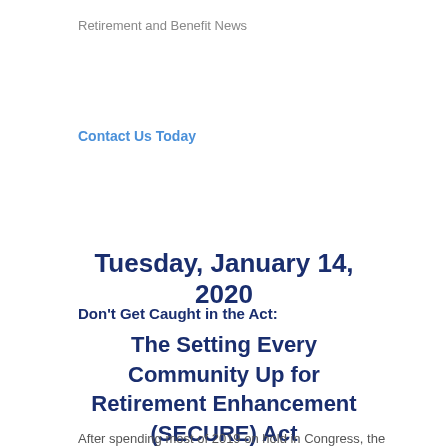Retirement and Benefit News
Contact Us Today
Tuesday, January 14, 2020
Don't Get Caught in the Act:
The Setting Every Community Up for Retirement Enhancement (SECURE) Act
After spending most of 2019 on hold in Congress, the